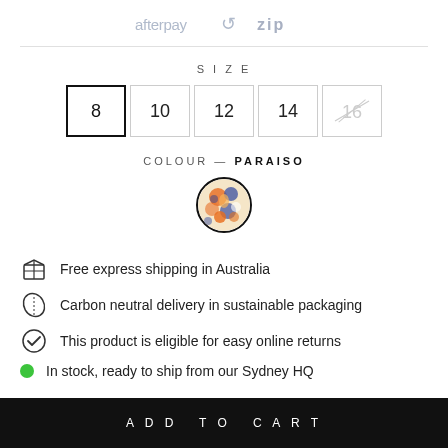[Figure (logo): Afterpay and Zip payment provider logos displayed side by side]
SIZE
[Figure (other): Size selector buttons showing options 8 (selected), 10, 12, 14, 16 (unavailable/crossed out)]
COLOUR — PARAISO
[Figure (other): Circular colour swatch showing Paraiso pattern — colourful floral/abstract print in orange, blue and white, with black border]
Free express shipping in Australia
Carbon neutral delivery in sustainable packaging
This product is eligible for easy online returns
In stock, ready to ship from our Sydney HQ
ADD TO CART